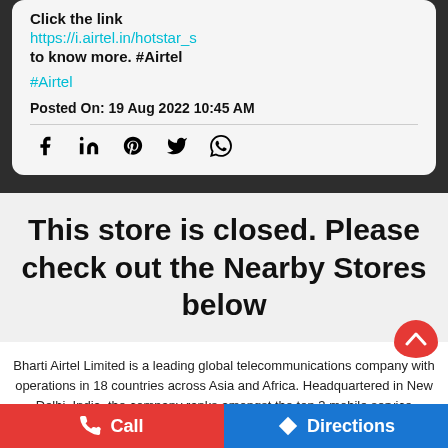Click the link
https://i.airtel.in/hotstar_s
to know more. #Airtel
#Airtel
Posted On: 19 Aug 2022 10:45 AM
[Figure (infographic): Social media share icons: Facebook, LinkedIn, Pinterest, Twitter, WhatsApp]
This store is closed. Please check out the Nearby Stores below
Bharti Airtel Limited is a leading global telecommunications company with operations in 18 countries across Asia and Africa. Headquartered in New Delhi, India, the company ranks amongst the top 3 mobile service providers globally in terms of
Call
Directions